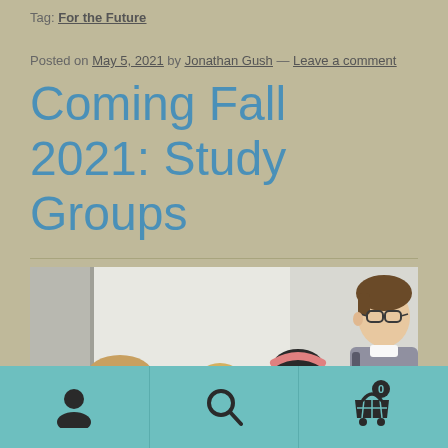Tag: For the Future
Posted on May 5, 2021 by Jonathan Gush — Leave a comment
Coming Fall 2021: Study Groups
[Figure (photo): Group of young students talking; two women and one man with glasses holding a bag, standing against a light wall]
Navigation bar with user icon, search icon, and cart icon with badge 0